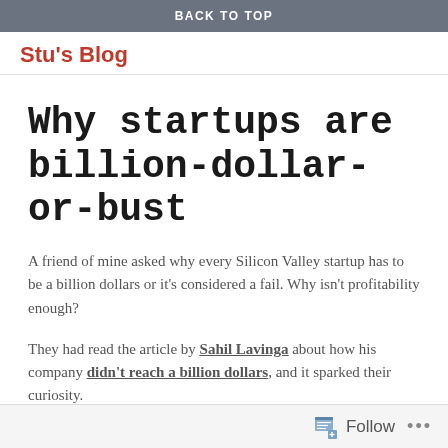BACK TO TOP
Stu's Blog
Why startups are billion-dollar-or-bust
A friend of mine asked why every Silicon Valley startup has to be a billion dollars or it’s considered a fail. Why isn’t profitability enough?
They had read the article by Sahil Lavinga about how his company didn't reach a billion dollars, and it sparked their curiosity.
Follow ...